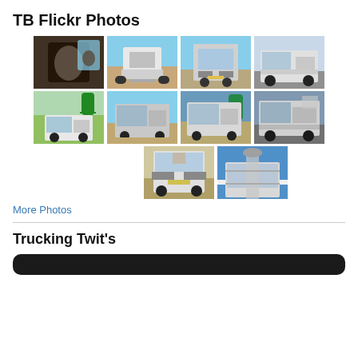TB Flickr Photos
[Figure (photo): Grid of 10 truck/vehicle photos in 3 rows: row 1 has 4 photos (mirror selfie, truck rear, truck front, truck side), row 2 has 4 photos (truck in field, truck yard views x3), row 3 has 2 photos (truck front, truck mirror top-down)]
More Photos
Trucking Twit's
[Figure (screenshot): Black rounded rectangle bar representing a Twitter/social media widget]